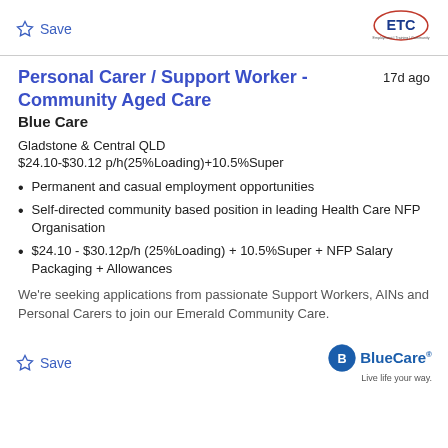Save
Personal Carer / Support Worker - Community Aged Care
17d ago
Blue Care
Gladstone & Central QLD
$24.10-$30.12 p/h(25%Loading)+10.5%Super
Permanent and casual employment opportunities
Self-directed community based position in leading Health Care NFP Organisation
$24.10 - $30.12p/h (25%Loading) + 10.5%Super + NFP Salary Packaging + Allowances
We're seeking applications from passionate Support Workers, AINs and Personal Carers to join our Emerald Community Care.
Save